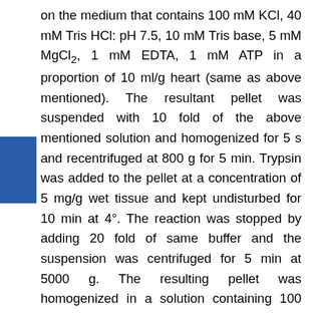on the medium that contains 100 mM KCl, 40 mM Tris HCl: pH 7.5, 10 mM Tris base, 5 mM MgCl₂, 1 mM EDTA, 1 mM ATP in a proportion of 10 ml/g heart (same as above mentioned). The resultant pellet was suspended with 10 fold of the above mentioned solution and homogenized for 5 s and recentrifuged at 800 g for 5 min. Trypsin was added to the pellet at a concentration of 5 mg/g wet tissue and kept undisturbed for 10 min at 4°. The reaction was stopped by adding 20 fold of same buffer and the suspension was centrifuged for 5 min at 5000 g. The resulting pellet was homogenized in a solution containing 100 mM KCl, 10 mM Tris HCl: pH 7.4, 10 mM Tris base, 1 mM MgSO₄, 0.1 mM EDTA, 0.02 mM ATP and 1.5% BSA (fatty acid free) and